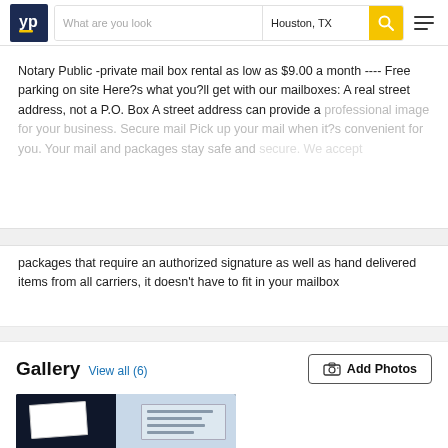[Figure (screenshot): YellowPages (YP) website header with logo, search bar with 'What are you look' placeholder and 'Houston, TX' location, yellow search button with magnifying glass icon, and hamburger menu icon]
Notary Public -private mail box rental as low as $9.00 a month ---- Free parking on site Here?s what you?ll get with our mailboxes: A real street address, not a P.O. Box A street address can provide a professional image for your business. Secure mail Pick up your mail when it?s convenient for you. Your mail and packages stay safe and
packages that require an authorized signature as well as hand delivered items from all carriers, it doesn't have to fit in your mailbox
Gallery
View all (6)
[Figure (photo): Gallery image showing mailbox area with envelope and notice documents against dark background]